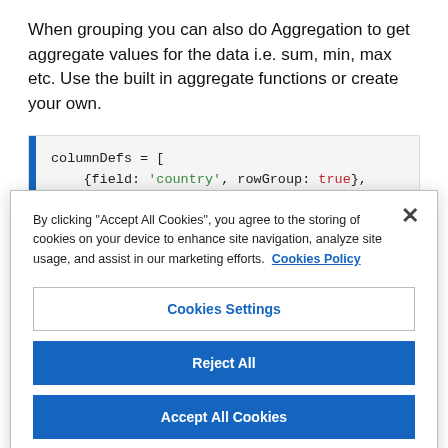When grouping you can also do Aggregation to get aggregate values for the data i.e. sum, min, max etc. Use the built in aggregate functions or create your own.
[Figure (screenshot): Code block showing columnDefs with field 'country', rowGroup: true, and [field: 'gold', aggFunc: 'sum'] with a blue left border bar]
By clicking "Accept All Cookies", you agree to the storing of cookies on your device to enhance site navigation, analyze site usage, and assist in our marketing efforts. Cookies Policy
Cookies Settings
Reject All
Accept All Cookies